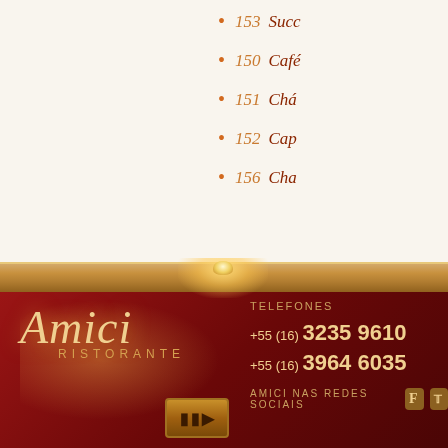153  Succ...
150  Café...
151  Chá...
152  Cap...
156  Cha...
[Figure (photo): Amici Ristorante footer with logo, telephone numbers, and social media links on dark red background with wood shelf divider]
TELEFONES
+55 (16) 3235 9610
+55 (16) 3964 6035
AMICI NAS REDES SOCIAIS